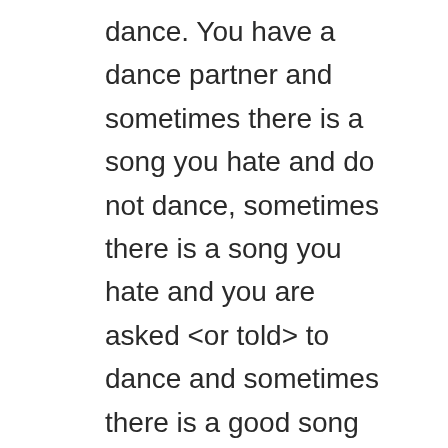dance. You have a dance partner and sometimes there is a song you hate and do not dance, sometimes there is a song you hate and you are asked <or told> to dance and sometimes there is a good song and you will dance no matter what.
That is a fairly metaphoric example of a stimulating workplace.
But I will point out something I purposefully did. I suggested the bad song is playing in two of the three scenarios.